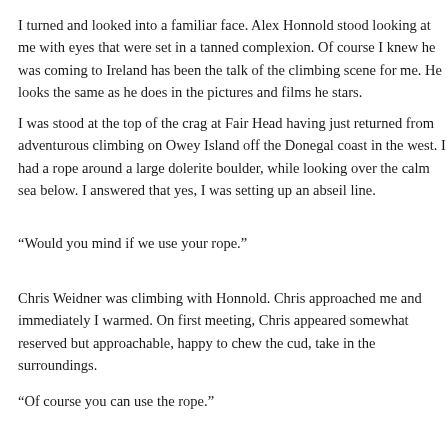I turned and looked into a familiar face. Alex Honnold stood looking at me with eyes that were set in a tanned complexion. Of course I knew he was coming; his coming to Ireland has been the talk of the climbing scene for me. He looks the same as he does in the pictures and films he stars.
I was stood at the top of the crag at Fair Head having just returned from adventurous climbing on Owey Island off the Donegal coast in the west. I had a rope around a large dolerite boulder, while looking over the calm sea below. I answered that yes, I was setting up an abseil line.
“Would you mind if we use your rope.”
Chris Weidner was climbing with Honnold. Chris approached me and immediately I warmed. On first meeting, Chris appeared somewhat reserved but approachable, happy to chew the cud, take in the surroundings.
“Of course you can use the rope.”